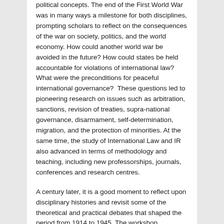political concepts. The end of the First World War was in many ways a milestone for both disciplines, prompting scholars to reflect on the consequences of the war on society, politics, and the world economy. How could another world war be avoided in the future? How could states be held accountable for violations of international law? What were the preconditions for peaceful international governance?  These questions led to pioneering research on issues such as arbitration, sanctions, revision of treaties, supra-national governance, disarmament, self-determination, migration, and the protection of minorities. At the same time, the study of International Law and IR also advanced in terms of methodology and teaching, including new professorships, journals, conferences and research centres.
A century later, it is a good moment to reflect upon disciplinary histories and revisit some of the theoretical and practical debates that shaped the period from 1914 to 1945. The workshop conveners are particularly (but not exclusively) interested in the following research questions: